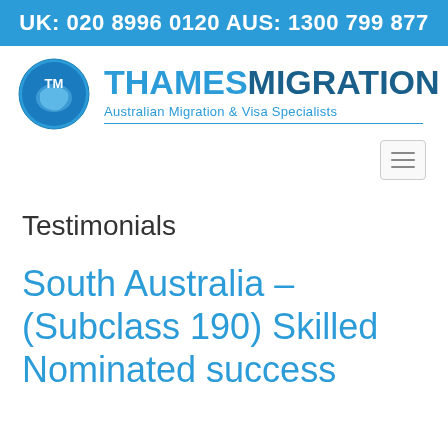UK: 020 8996 0120 AUS: 1300 799 877
[Figure (logo): Thames Migration logo with circular TM emblem and Australia map, text THAMES MIGRATION Australian Migration & Visa Specialists]
[Figure (other): Hamburger navigation menu icon]
Testimonials
South Australia – (Subclass 190) Skilled Nominated success